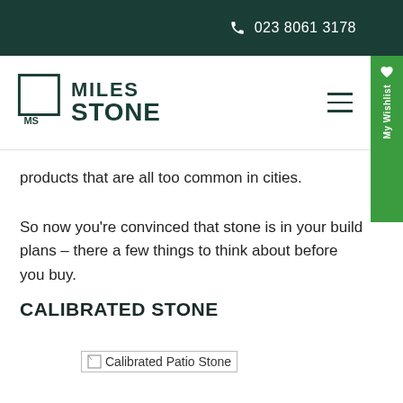023 8061 3178
[Figure (logo): Miles Stone logo with MS icon and company name]
products that are all too common in cities.
So now you’re convinced that stone is in your build plans – there a few things to think about before you buy.
CALIBRATED STONE
[Figure (photo): Calibrated Patio Stone image (broken/loading image placeholder)]